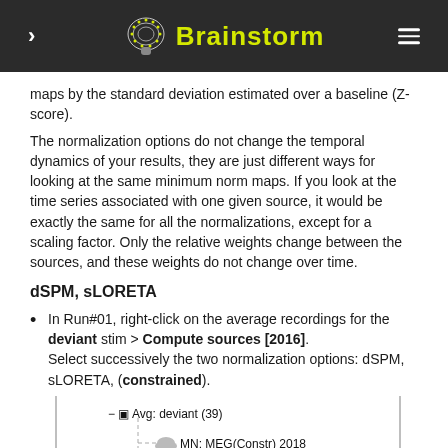Brainstorm
maps by the standard deviation estimated over a baseline (Z-score).
The normalization options do not change the temporal dynamics of your results, they are just different ways for looking at the same minimum norm maps. If you look at the time series associated with one given source, it would be exactly the same for all the normalizations, except for a scaling factor. Only the relative weights change between the sources, and these weights do not change over time.
dSPM, sLORETA
In Run#01, right-click on the average recordings for the deviant stim > Compute sources [2016]. Select successively the two normalization options: dSPM, sLORETA, (constrained).
[Figure (screenshot): Screenshot of Brainstorm interface showing tree: Avg: deviant (39) with children MN: MEG(Constr) 2018, dSPM-unscaled: MEG(Constr) 2018 (highlighted blue), sLORETA: MEG(Constr) 2018 (highlighted blue)]
Double-click on all of them to compare them (screen capture at 143ms):